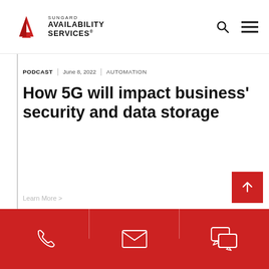[Figure (logo): Sungard Availability Services logo with red geometric arrow/triangle icon and company name text]
PODCAST | June 8, 2022 | AUTOMATION
How 5G will impact business' security and data storage
Learn More >
[Figure (infographic): Red footer bar with phone, email, and chat icons for contact options]